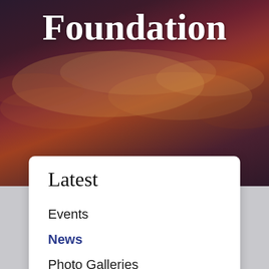[Figure (photo): Dark dramatic sky with sunset clouds in deep purple, red, and orange tones serving as a hero background image]
Foundation
Latest
Events
News
Photo Galleries
Quarterly Newsletters